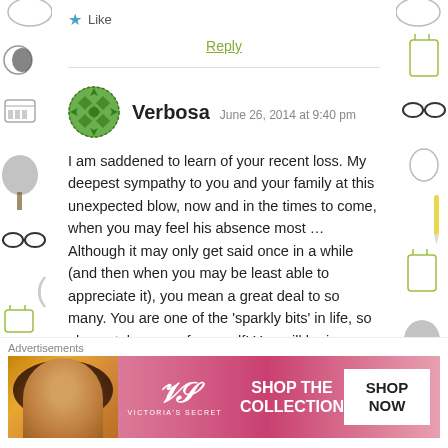★ Like
Reply
Verbosa  June 26, 2014 at 9:40 pm
I am saddened to learn of your recent loss. My deepest sympathy to you and your family at this unexpected blow, now and in the times to come, when you may feel his absence most … Although it may only get said once in a while (and then when you may be least able to appreciate it), you mean a great deal to so many. You are one of the 'sparkly bits' in life, so please take care of yourself! You will be in my thoughts & prayers.
Advertisements
[Figure (screenshot): Victoria's Secret advertisement banner with model photo, VS logo, 'SHOP THE COLLECTION' text, and 'SHOP NOW' button]